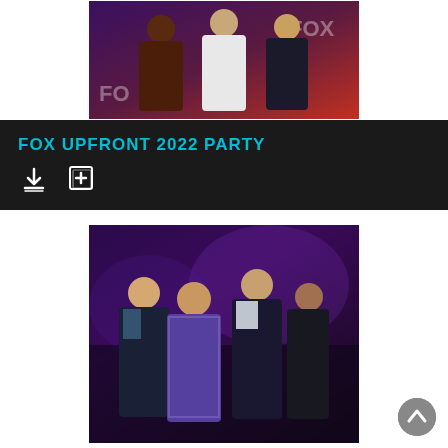[Figure (photo): Three people posing in front of a FOX branded backdrop — a person in brown on the left, a woman in a white jumpsuit in the center, and a man in a dark suit on the right.]
FOX UPFRONT 2022 PARTY
[Figure (photo): Four people posing together at the Fox Upfront 2022 party in a purple-lit venue — a bald man in a dark blazer, a heavyset man in a plaid purple jacket, a taller man in a dark suit with light shirt, and a woman with dark hair in a black dress.]